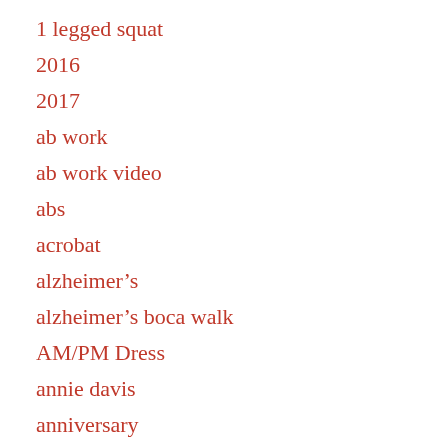1 legged squat
2016
2017
ab work
ab work video
abs
acrobat
alzheimer’s
alzheimer’s boca walk
AM/PM Dress
annie davis
anniversary
anti-inflammatory
antioxidant